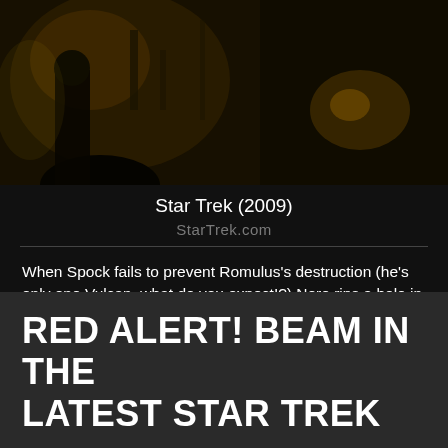[Figure (photo): Dark cinematic still from Star Trek (2009) showing figures with machinery in low amber light]
Star Trek (2009)
StarTrek.com
When Spock fails to prevent Romulus's destruction (he's only one Vulcan, what do you expect!?) Nero rips a hole in spacetime to make sure his act of vengeance has lasting effects.
Watch these and other episodes and movies of sweet revenge on Paramount+. Share your favorite Star Trek moments with us on social using #WrathOfPKhan!
RED ALERT! BEAM IN THE LATEST STAR TREK